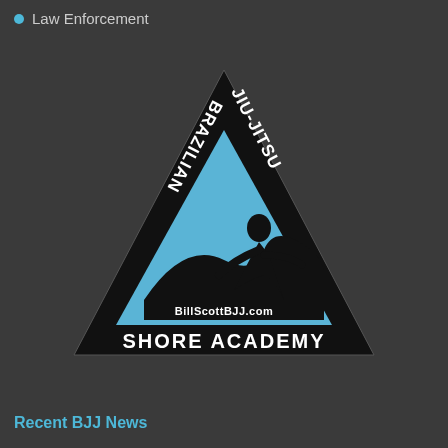Law Enforcement
[Figure (logo): Brazilian Jiu-Jitsu Shore Academy logo: a black triangle with white text 'BRAZILIAN' on the left side, 'JIU-JITSU' on the right side, a blue inner triangle containing a silhouette of a person surfing a wave, the URL 'BillScottBJJ.com' at the bottom of the inner triangle, and 'SHORE ACADEMY' text at the base of the outer triangle.]
Recent BJJ News